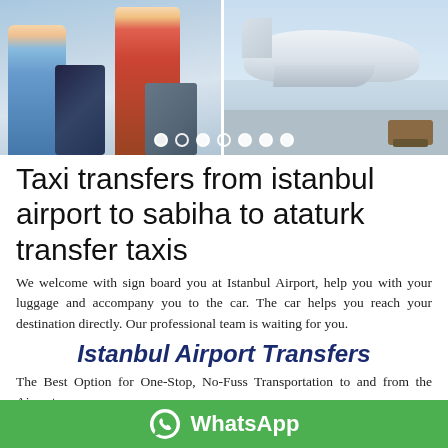[Figure (photo): Collage of two travel/airport photos: left shows a child near luggage in an airport, right shows an airplane on the tarmac with ground equipment. Carousel navigation dots visible at the bottom of the image.]
Taxi transfers from istanbul airport to sabiha to ataturk transfer taxis
We welcome with sign board you at Istanbul Airport, help you with your luggage and accompany you to the car. The car helps you reach your destination directly. Our professional team is waiting for you.
Istanbul Airport Transfers
The Best Option for One-Stop, No-Fuss Transportation to and from the Airport
If you are scheduled to arrive in or depart the beautiful city
WhatsApp